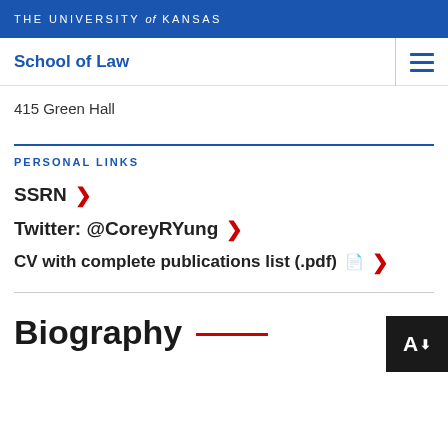THE UNIVERSITY of KANSAS
School of Law
415 Green Hall
PERSONAL LINKS
SSRN
Twitter: @CoreyRYung
CV with complete publications list (.pdf)
Biography